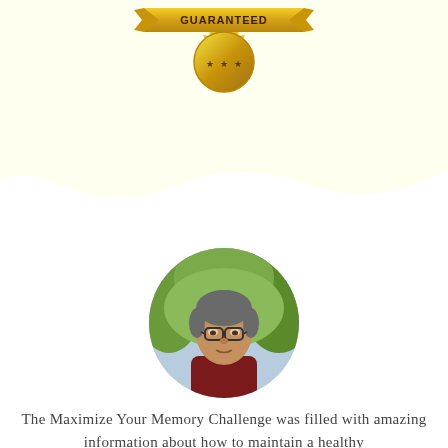[Figure (illustration): Gold guarantee badge/seal with text 'GUARANTEED' on a ribbon banner, stars, and decorative medal design]
[Figure (photo): Circular portrait photo of an older man with glasses and short grey hair, wearing a dark red/maroon shirt, outdoors with green foliage in the background]
The Maximize Your Memory Challenge was filled with amazing information about how to maintain a healthy